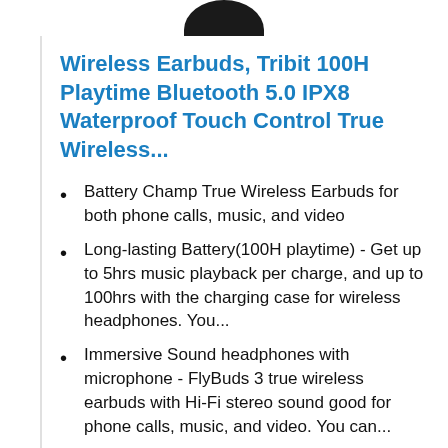[Figure (photo): Partial view of black wireless earbuds product image at top of page]
Wireless Earbuds, Tribit 100H Playtime Bluetooth 5.0 IPX8 Waterproof Touch Control True Wireless...
Battery Champ True Wireless Earbuds for both phone calls, music, and video
Long-lasting Battery(100H playtime) - Get up to 5hrs music playback per charge, and up to 100hrs with the charging case for wireless headphones. You...
Immersive Sound headphones with microphone - FlyBuds 3 true wireless earbuds with Hi-Fi stereo sound good for phone calls, music, and video. You can...
One-step Pairing (No Need To Take The Ear buds Out) - Open the earbuds charging case they'll automatically connect to the